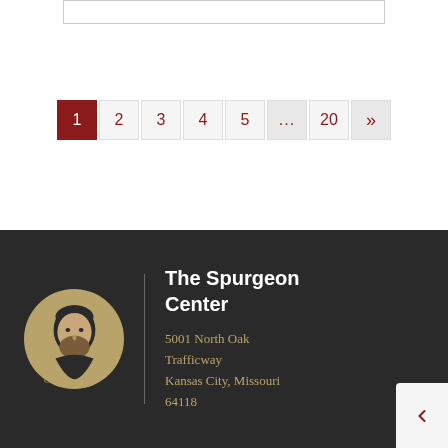[Figure (other): Empty bordered box at top of page]
1 2 3 4 5 ... 20 »
[Figure (logo): The Spurgeon Center logo: circular gold portrait of Charles Spurgeon with signature below]
The Spurgeon Center
5001 North Oak Trafficway
Kansas City, Missouri 64118